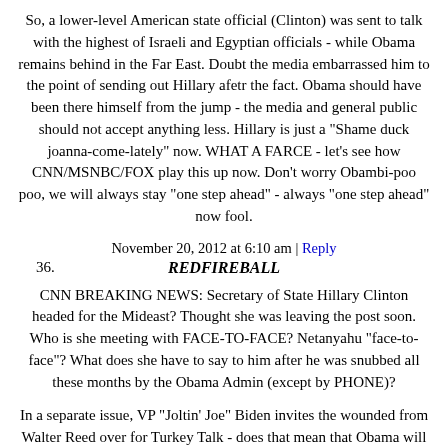So, a lower-level American state official (Clinton) was sent to talk with the highest of Israeli and Egyptian officials - while Obama remains behind in the Far East. Doubt the media embarrassed him to the point of sending out Hillary afetr the fact. Obama should have been there himself from the jump - the media and general public should not accept anything less. Hillary is just a "Shame duck joanna-come-lately" now. WHAT A FARCE - let's see how CNN/MSNBC/FOX play this up now. Don't worry Obambi-poo poo, we will always stay "one step ahead" - always "one step ahead" now fool.
November 20, 2012 at 6:10 am | Reply
36.   REDFIREBALL
CNN BREAKING NEWS: Secretary of State Hillary Clinton headed for the Mideast? Thought she was leaving the post soon. Who is she meeting with FACE-TO-FACE? Netanyahu "face-to-face"? What does she have to say to him after he was snubbed all these months by the Obama Admin (except by PHONE)?
In a separate issue, VP "Joltin' Joe" Biden invites the wounded from Walter Reed over for Turkey Talk - does that mean that Obama will be able to fund improvement in the